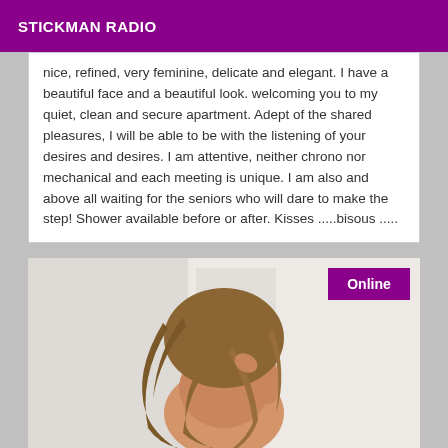STICKMAN RADIO
nice, refined, very feminine, delicate and elegant. I have a beautiful face and a beautiful look. welcoming you to my quiet, clean and secure apartment. Adept of the shared pleasures, I will be able to be with the listening of your desires and desires. I am attentive, neither chrono nor mechanical and each meeting is unique. I am also and above all waiting for the seniors who will dare to make the step! Shower available before or after. Kisses .....bisous .....
[Figure (photo): Woman with long wavy hair, facing away, in a bright room]